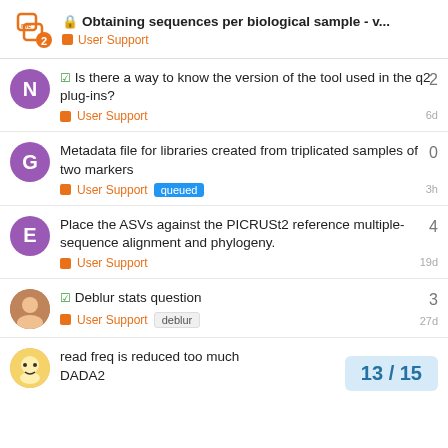Obtaining sequences per biological sample - v... | User Support
Is there a way to know the version of the tool used in the q2 plug-ins? | User Support | 2 replies | 6d
Metadata file for libraries created from triplicated samples of two markers | User Support | queued | 0 replies | 3h
Place the ASVs against the PICRUSt2 reference multiple-sequence alignment and phylogeny. | User Support | 4 replies | 19d
Deblur stats question | User Support | deblur | 3 replies | 27d
read freq is reduced too much DADA2 | 13 / 15